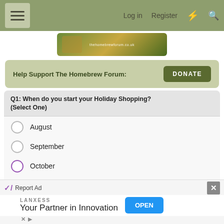Log in  Register
[Figure (illustration): Homebrew forum banner image with autumn leaves and wheat motif, URL: thehomebrewforum.co.uk]
Help Support The Homebrew Forum:  DONATE
Q1: When do you start your Holiday Shopping? (Select One)
August
September
October
November
December
Report Ad
LANXESS
Your Partner in Innovation  OPEN